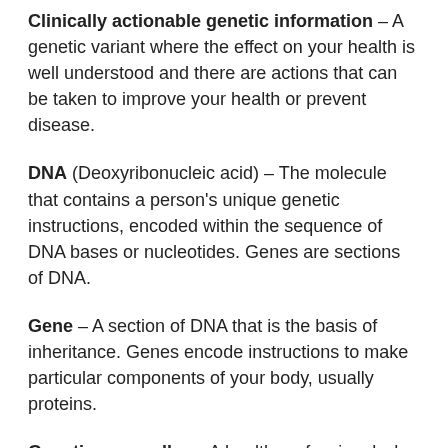Clinically actionable genetic information – A genetic variant where the effect on your health is well understood and there are actions that can be taken to improve your health or prevent disease.
DNA (Deoxyribonucleic acid) – The molecule that contains a person's unique genetic instructions, encoded within the sequence of DNA bases or nucleotides. Genes are sections of DNA.
Gene – A section of DNA that is the basis of inheritance. Genes encode instructions to make particular components of your body, usually proteins.
Genetic counsellor – A health professional who has specialised training in genetics and counselling, and provides individuals and families with information about genetic testing, conditions, and risks.